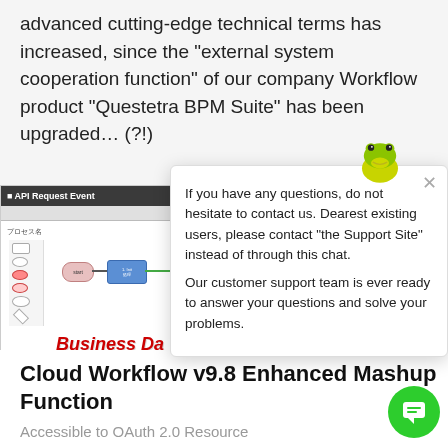advanced cutting-edge technical terms has increased, since the "external system cooperation function" of our company Workflow product "Questetra BPM Suite" has been upgraded… (?!)
[Figure (screenshot): Screenshot of Questetra BPM Suite showing an API Request Event workflow diagram with start node, task node, and arrows. Overlaid red bold italic text reads 'Business Da... Transmissi...']
If you have any questions, do not hesitate to contact us. Dearest existing users, please contact "the Support Site" instead of through this chat.
Our customer support team is ever ready to answer your questions and solve your problems.
Cloud Workflow v9.8 Enhanced Mashup Function
Accessible to OAuth 2.0 Resource